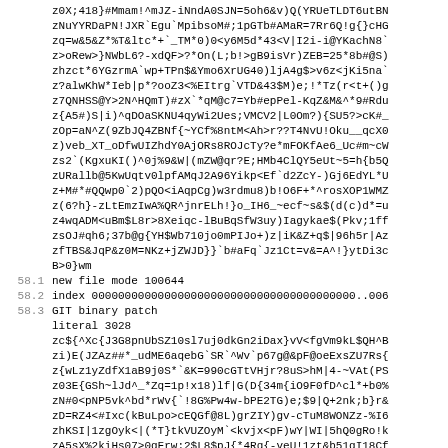z0X;418}#Mmam!^mJZ-iNndA0SJN=5oh6&v)Q(YRUeTLDT6utBN
zNuYYRDaPN!JXR`Egu`MpibsoM#;1pGTb#AMaR=7Rr6Q!g{}cHG
zq=w&5&Z*%T&ltc*+`_TM*0)0<y6M5d*43<V|I2i-i@YKachN8`
z>oRew>}NWbL6?-xdQF>?*On(L;b!>gB9isVr)ZEB=25*8b#@S)
zhzct*6YGzrmA`wp+TPn$&Ymo6XrUG40)ljA4g$>v6z<jKi5na`
z?alwKhW*Ieb|p*?ooZ3<%EItrg`VTD&43$M)e;!*Tz(r<t+()g
z7QNHSS@Y>2N^HQmT)#zX`*qM@c7=Yb#epPel-KqZ&M&^*9#Rdu
z{A5#)S|i)^qDOaSKNU4qyWi2Ues;VMCV2|L0Om?){SU5?>cK#_
zOp=aN^Z(9ZbJQ4ZBNf{~YCf%8ntM<Ah>r??T4NvU!Oku__qcX0
z)veb_XT_oDfwUIZhdY0AjORs8ROJcTy?e*mFOKfAe6_Uc#m~cW
zs2`(KgxuKI()^0j%9&W|(mZW@qr?E;HMb4ClQY5eUt~5=h{b5Q
zURallb@5KwUqtv0lpfAMqJ2A96Yikp<Ef`d2ZcY-)Gj6EdYL*U
z+M#*#QQwp0`2)pQO<iAqpCg)w3rdmu8)b!O6F+*^rosXOP1WMZ
z(6?h}-zLtEmzIwA%QR^jnrELh!}o_IH6_~ecf~s&$(d(c)d*=u
z4wqADM<uBm$L8r>8Xeiqc-lBuBqSfW3uy)Iagykae$(Pkv;1ff
zsOJ#qh6;37b@g{YH$Wb710jo0mPIJo+)z|iK&Z+q$|96h5r|Az
zfTBS&JqP&z0M=NKz+jZWJD}}`b#aFq`Jz1Ct=v&=A^!}ytDi3c
B>0}wm
58.1    new file mode 100644
58.2    index 0000000000000000000000000000000000000000..006
58.3    GIT binary patch
literal 3028
zc${^Xc{J3G8pnUbSZ10sl7uj0dkGn2iDax}vV<fgVm9kL$QH^B
zi)E(JZAz##*_udME6aqebG`SR`^Wv`p67g@&pF@oeExsZU7Rs{
z{wLz1yZdfX1aB9j0S*`&K=990cGTtVHjr?8uS>hM|4-~VAt(PS
z03E{GSh~lJd^_*Zq=1p!x18)lf|G(D{34m{iO9F0fD^cl*+b0%
zN#0<pNP5vk^bd*rWv{`!8G%Pw4w-bPE2TG)e;$9|Q+2nk;b}r&
zD=RZ4<#Ixc(kBuLpo>cEQGf@8L)grZIY)gv-cTuM8WONZz-%I6
zhKSI|1zgOyk<|(*T}tkVUZOyM`<kvjx<pF)wY|WI|5hQ0gRo!k
zA5sX%2kiHs07>0gFrw;2$L8$pJ{*4Rq{-veU!1zt&b51gI18Cf
zv5^j}ccRMRd)EN)n8m$|T1)lgDq0}6ek50v$nCTmSSU|eC4Ju7
z5XHk|rC#gf5orvJvy|TSMs)((uG83{5UQ^rAR~5^pWaMoTSe$m